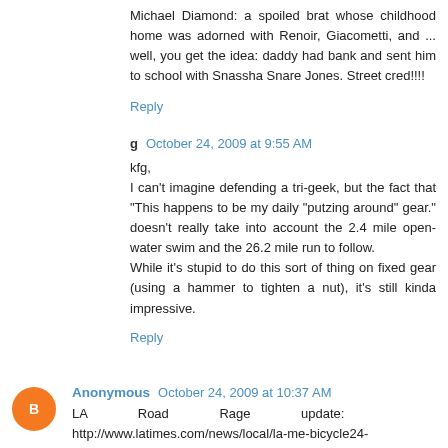Michael Diamond: a spoiled brat whose childhood home was adorned with Renoir, Giacometti, and ... well, you get the idea: daddy had bank and sent him to school with Snassha Snare Jones. Street cred!!!!
Reply
g  October 24, 2009 at 9:55 AM
kfg,
I can't imagine defending a tri-geek, but the fact that "This happens to be my daily "putzing around" gear." doesn't really take into account the 2.4 mile open-water swim and the 26.2 mile run to follow.
While it's stupid to do this sort of thing on fixed gear (using a hammer to tighten a nut), it's still kinda impressive.
Reply
Anonymous  October 24, 2009 at 10:37 AM
LA Road Rage update:
http://www.latimes.com/news/local/la-me-bicycle24-